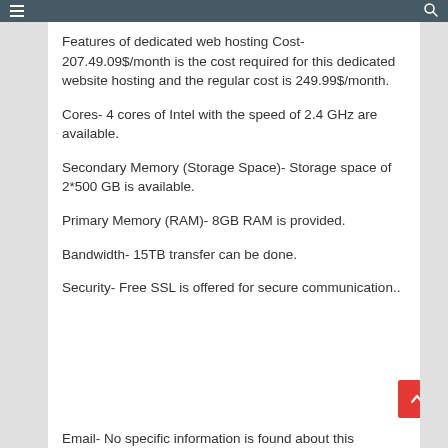Features of dedicated web hosting Cost- 207.49.09$/month is the cost required for this dedicated website hosting and the regular cost is 249.99$/month.
Cores- 4 cores of Intel with the speed of 2.4 GHz are available.
Secondary Memory (Storage Space)- Storage space of 2*500 GB is available.
Primary Memory (RAM)- 8GB RAM is provided.
Bandwidth- 15TB transfer can be done.
Security- Free SSL is offered for secure communication..
Email- No specific information is found about this